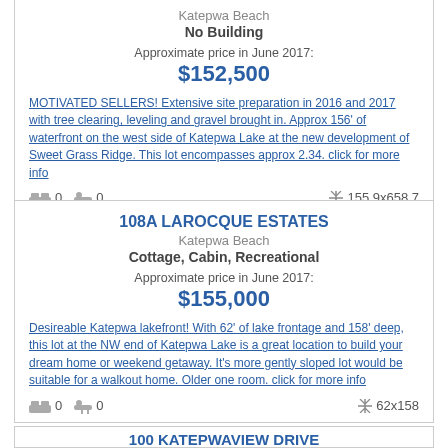Katepwa Beach
No Building
Approximate price in June 2017:
$152,500
MOTIVATED SELLERS! Extensive site preparation in 2016 and 2017 with tree clearing, leveling and gravel brought in. Approx 156' of waterfront on the west side of Katepwa Lake at the new development of Sweet Grass Ridge. This lot encompasses approx 2.34. click for more info
Beds: 0  Baths: 0  Dimensions: 155.9x658.7
108A LAROCQUE ESTATES
Katepwa Beach
Cottage, Cabin, Recreational
Approximate price in June 2017:
$155,000
Desireable Katepwa lakefront! With 62' of lake frontage and 158' deep, this lot at the NW end of Katepwa Lake is a great location to build your dream home or weekend getaway. It's more gently sloped lot would be suitable for a walkout home. Older one room. click for more info
Beds: 0  Baths: 0  Dimensions: 62x158
100 KATEPWAVIEW DRIVE
Katepwa Beach